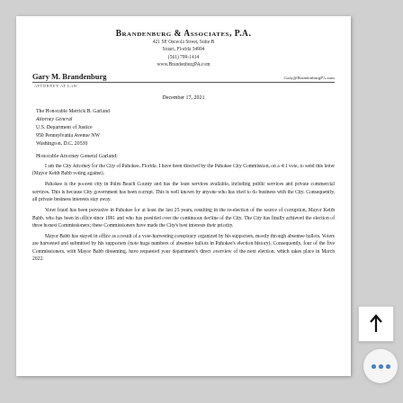Brandenburg & Associates, P.A.
421 SE Osceola Street, Suite B
Stuart, Florida 34994
(561) 799-1414
www.BrandenburgPA.com
Gary M. Brandenburg
ATTORNEY AT LAW
Gary@BrandenburgPA.com
December 17, 2021
The Honorable Merrick B. Garland
Attorney General
U.S. Department of Justice
950 Pennsylvania Avenue NW
Washington, D.C. 20530
Honorable Attorney General Garland:
I am the City Attorney for the City of Pahokee, Florida. I have been directed by the Pahokee City Commission, on a 4:1 vote, to send this letter (Mayor Keith Babb voting against).
Pahokee is the poorest city in Palm Beach County and has the least services available, including public services and private commercial services. This is because City government has been corrupt. This is well known by anyone who has tried to do business with the City. Consequently, all private business interests stay away.
Voter fraud has been pervasive in Pahokee for at least the last 25 years, resulting in the re-election of the source of corruption, Mayor Keith Babb, who has been in office since 1991 and who has presided over the continuous decline of the City. The City has finally achieved the election of three honest Commissioners; these Commissioners have made the City's best interests their priority.
Mayor Babb has stayed in office as a result of a vote-harvesting conspiracy organized by his supporters, mostly through absentee ballots. Voters are harvested and submitted by his supporters (note huge numbers of absentee ballots in Pahokee's election history). Consequently, four of the five Commissioners, with Mayor Babb dissenting, have requested your department's direct overview of the next election, which takes place in March 2022.